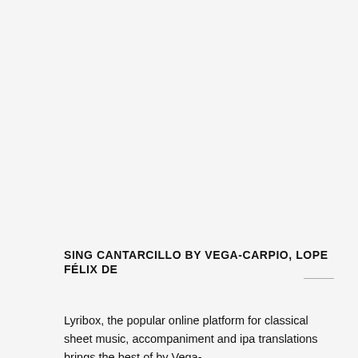SING CANTARCILLO BY VEGA-CARPIO, LOPE FÉLIX DE
Lyribox, the popular online platform for classical sheet music, accompaniment and ipa translations brings the best of by Vega-